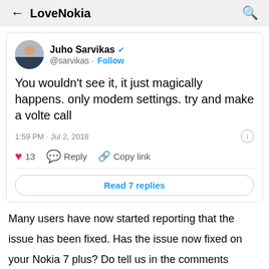← LoveNokia 🔍
[Figure (screenshot): Tweet card from Juho Sarvikas (@sarvikas) with verified badge and Follow button. Tweet text: 'You wouldn't see it, it just magically happens. only modem settings. try and make a volte call'. Timestamp: 1:59 PM · Jul 2, 2018. 13 likes. Reply, Copy link actions. Read 7 replies button.]
Many users have now started reporting that the issue has been fixed. Has the issue now fixed on your Nokia 7 plus? Do tell us in the comments below. :)